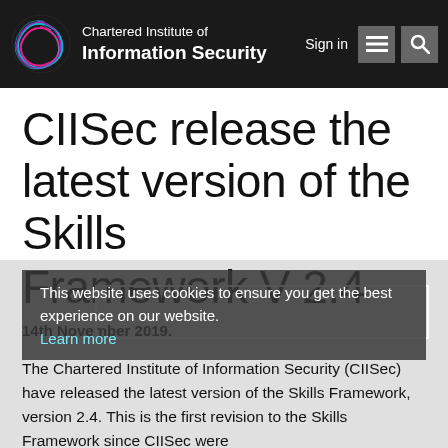Chartered Institute of Information Security
CIISec release the latest version of the Skills Framework V 2.4
This website uses cookies to ensure you get the best experience on our website.
Learn more
14th November 2019.
The Chartered Institute of Information Security (CIISec) have released the latest version of the Skills Framework, version 2.4. This is the first revision to the Skills Framework since CIISec were